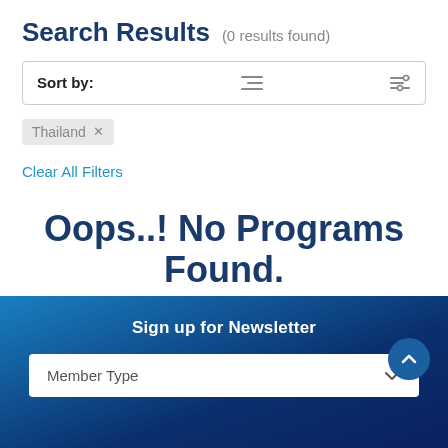Search Results (0 results found)
Sort by:
Thailand ×
Clear All Filters
Oops..! No Programs Found.
Sign up for Newsletter
Member Type